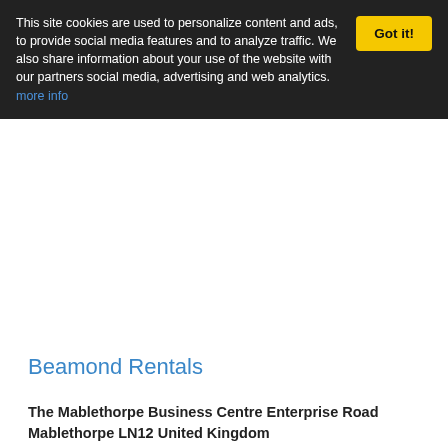This site cookies are used to personalize content and ads, to provide social media features and to analyze traffic. We also share information about your use of the website with our partners social media, advertising and web analytics. more info
Beamond Rentals
The Mablethorpe Business Centre Enterprise Road Mablethorpe LN12 United Kingdom